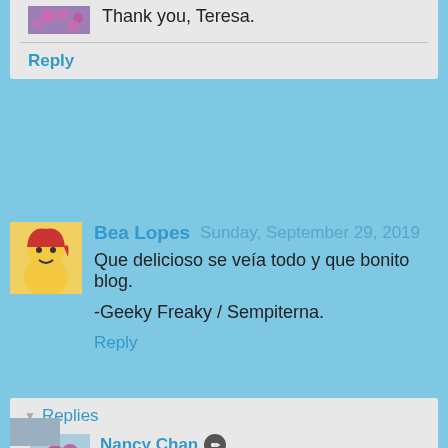Thank you, Teresa.
Reply
Bea Lopes  Sunday, September 29, 2019
Que delicioso se veía todo y que bonito blog.
-Geeky Freaky / Sempiterna.
Reply
Replies
Nancy Chan  Monday, September 30, 2019
Thank you, Bea.
Reply